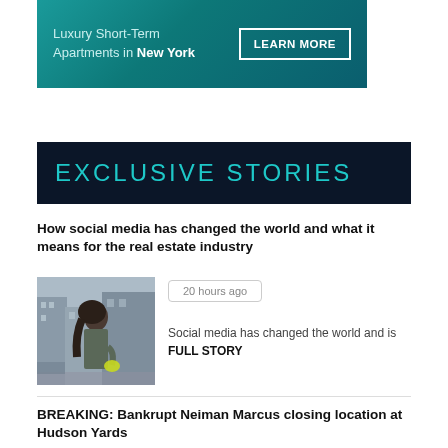[Figure (illustration): Advertisement banner for Luxury Short-Term Apartments in New York with teal/dark teal gradient background and a LEARN MORE button]
EXCLUSIVE STORIES
How social media has changed the world and what it means for the real estate industry
[Figure (photo): Photo of a woman standing on a New York City street]
20 hours ago
Social media has changed the world and is FULL STORY
BREAKING: Bankrupt Neiman Marcus closing location at Hudson Yards
[Figure (photo): Photo of Neiman Marcus store front]
2 years ago
#NEWYORK NEWYORK — After it alit...